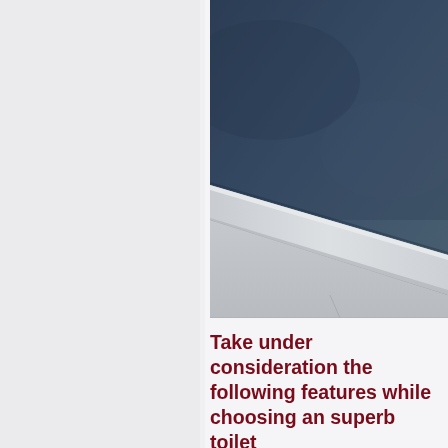[Figure (photo): Close-up photo of a bathroom wall corner showing a dark navy/steel blue painted wall above a white baseboard molding, with white tile wainscoting below. The photo is cropped and shows the upper-right portion of the image.]
Take under consideration the following features while choosing an superb toilet